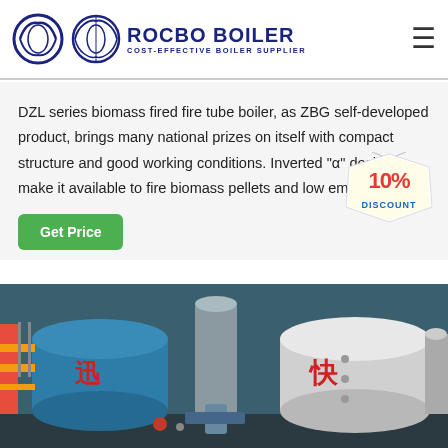[Figure (logo): Rocbo Boiler company logo with circular emblem and text 'COST-EFFECTIVE BOILER SUPPLIER']
DZL series biomass fired fire tube boiler, as ZBG self-developed product, brings many national prizes on itself with compact structure and good working conditions. Inverted "α" design, make it available to fire biomass pellets and low emission. a. Lo
[Figure (illustration): 10% DISCOUNT badge/stamp graphic]
[Figure (photo): Industrial boiler equipment showing blue cylindrical boilers with Chinese characters, pipes and machinery in a factory setting]